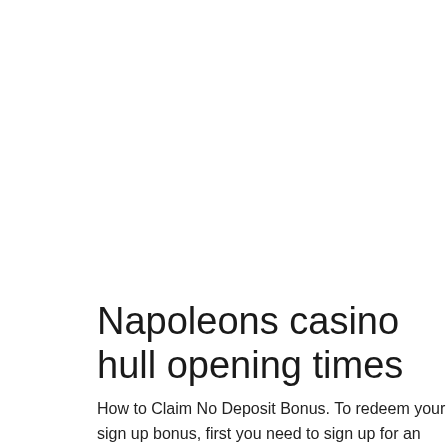Napoleons casino hull opening times
How to Claim No Deposit Bonus. To redeem your sign up bonus, first you need to sign up for an account. Once you have one, just log in and it's going to give